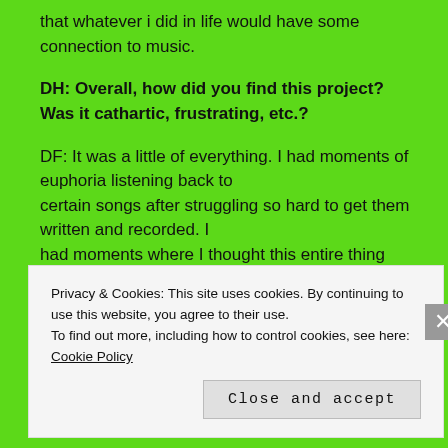that whatever i did in life would have some connection to music.
DH: Overall, how did you find this project? Was it cathartic, frustrating, etc.?
DF: It was a little of everything. I had moments of euphoria listening back to certain songs after struggling so hard to get them written and recorded. I had moments where I thought this entire thing was too grandiose and I was
Privacy & Cookies: This site uses cookies. By continuing to use this website, you agree to their use. To find out more, including how to control cookies, see here: Cookie Policy
Close and accept